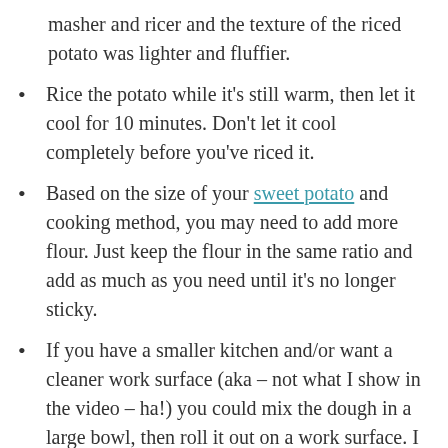masher and ricer and the texture of the riced potato was lighter and fluffier.
Rice the potato while it's still warm, then let it cool for 10 minutes. Don't let it cool completely before you've riced it.
Based on the size of your sweet potato and cooking method, you may need to add more flour. Just keep the flour in the same ratio and add as much as you need until it's no longer sticky.
If you have a smaller kitchen and/or want a cleaner work surface (aka – not what I show in the video – ha!) you could mix the dough in a large bowl, then roll it out on a work surface. I was excited to use the large island in my new apartment, but I think I'll take this approach next time.